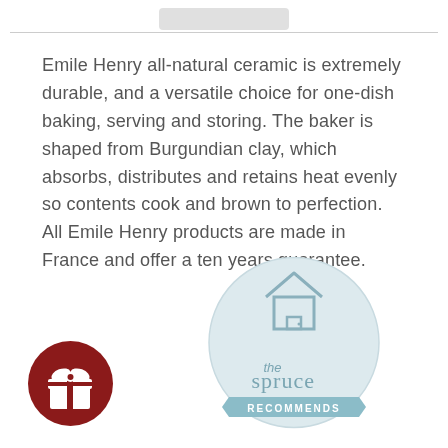Emile Henry all-natural ceramic is extremely durable, and a versatile choice for one-dish baking, serving and storing. The baker is shaped from Burgundian clay, which absorbs, distributes and retains heat evenly so contents cook and brown to perfection. All Emile Henry products are made in France and offer a ten years guarantee.
[Figure (logo): The Spruce Recommends circular badge logo — a light blue circle with a house icon, text 'the spruce' and a banner reading 'RECOMMENDS']
[Figure (logo): Dark red circular badge with a white gift/present icon in the center]